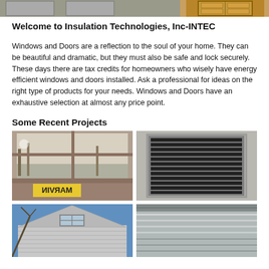[Figure (photo): Header banner photo showing exterior windows and a wooden door of a building]
Welcome to Insulation Technologies, Inc-INTEC
Windows and Doors are a reflection to the soul of your home. They can be beautiful and dramatic, but they must also be safe and lock securely. These days there are tax credits for homeowners who wisely have energy efficient windows and doors installed. Ask a professional for ideas on the right type of products for your needs. Windows and Doors have an exhaustive selection at almost any price point.
Some Recent Projects
[Figure (photo): Interior window view looking out to a street and bare trees in winter, with a MARVIN sign visible]
[Figure (photo): Exterior industrial louver or vent unit mounted on a concrete block wall, viewed from below]
[Figure (photo): Exterior of a house with triangular gable roof and a small window, blue sky background in winter]
[Figure (photo): Close-up of exterior building facade with horizontal metal panels and snow, winter scene]